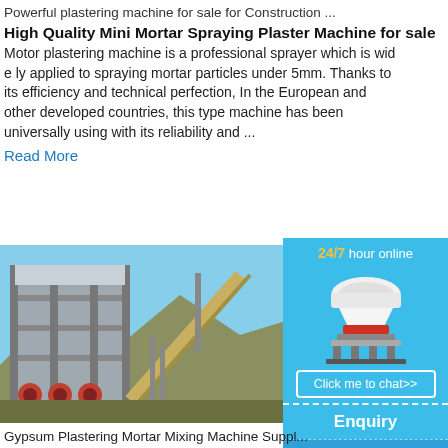Powerful plastering machine for sale for Construction ...
High Quality Mini Mortar Spraying Plaster Machine for sale
Motor plastering machine is a professional sprayer which is widely applied to spraying mortar particles under 5mm. Thanks to its efficiency and technical perfection, In the European and other developed countries, this type machine has been universally using with its reliability and ...
Read More
[Figure (photo): Industrial gypsum plastering mortar mixing machine plant exterior]
[Figure (photo): Cone crusher machine advertisement with 24/7 hour online label, chat button, enquiry and limingjlmofen links]
Gypsum Plastering Mortar Mixing Machine Suppl... Gypsum Plastering Mortar Mixing Machine. pump PLASTERING MACHINE FOR DRY PLASTERS G5C is same design as PFT G GIOTTO. Automatically add water mixing, p... gypsum-based or cement-based ready-mix...